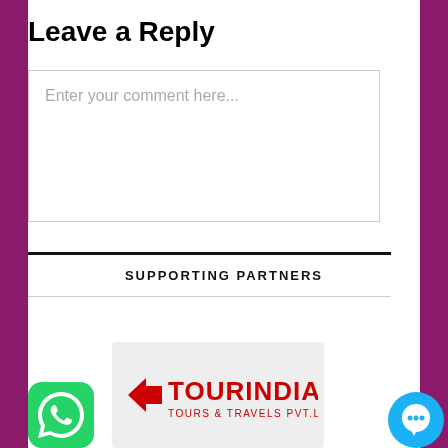Leave a Reply
Enter your comment here...
SUPPORTING PARTNERS
[Figure (logo): TourIndia Tours & Travels Pvt.Ltd. logo in red text on light grey background]
[Figure (logo): WhatsApp green icon with white phone symbol]
[Figure (other): Blue circular chat bubble icon with three dots]